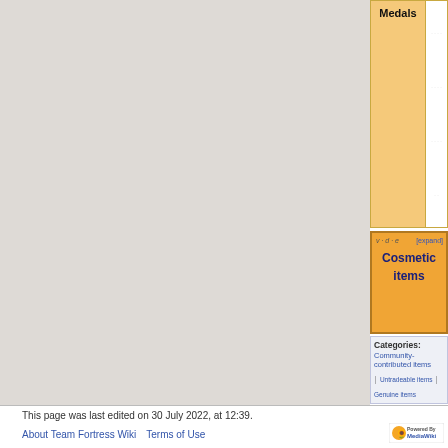| Medals | Icons |
| --- | --- |
| Medals | (medal icons) |
v·d·e  Cosmetic items  [expand]
Categories:
Community-contributed items
Untradeable items | Genuine items
Cosmetic items | Competitive
Paintable items | Limited items
This page was last edited on 30 July 2022, at 12:39.
About Team Fortress Wiki   Terms of Use
[Figure (logo): Powered by MediaWiki logo]